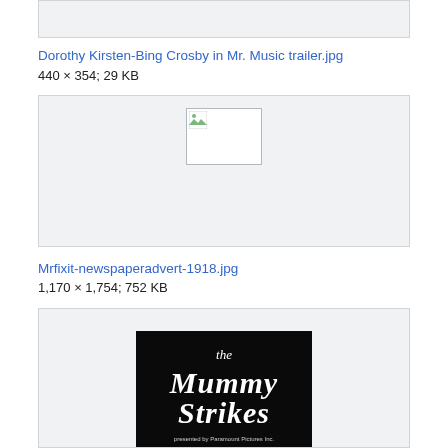[Figure (other): Gray placeholder box at top of page]
Dorothy Kirsten-Bing Crosby in Mr. Music trailer.jpg
440 × 354; 29 KB
[Figure (other): Gray image box with broken image icon thumbnail]
Mrfixit-newspaperadvert-1918.jpg
1,170 × 1,754; 752 KB
[Figure (photo): Black and white title card image reading 'the Mummy Strikes' in stylized text, noted as presented by Paramount Pictures Inc.]